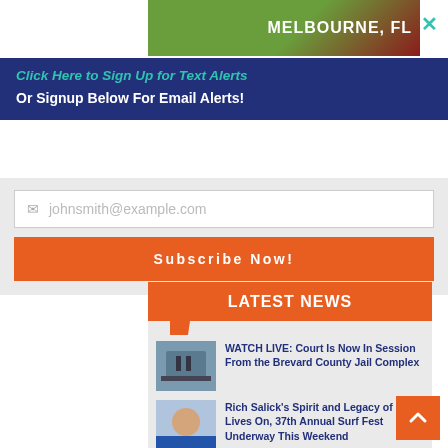[Figure (photo): Advertisement banner showing Melbourne, FL with green trees and red building]
Click Here to Sign Up for Text Alerts
Or Signup Below For Email Alerts!
johnsmith@example.com
Subscribe Now!
LATEST NEWS
WATCH LIVE: Court Is Now In Session From the Brevard County Jail Complex
Rich Salick's Spirit and Legacy of Hope Lives On, 37th Annual Surf Fest Underway This Weekend
Palm Bay Police Honors Brevard Public Schools Bus Driver Janet